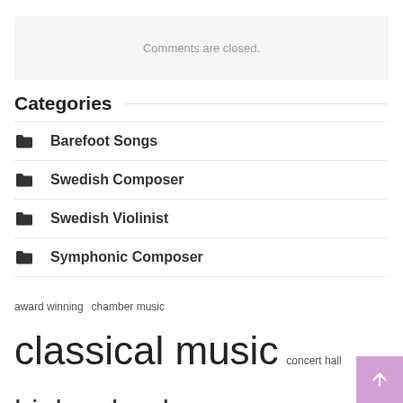Comments are closed.
Categories
Barefoot Songs
Swedish Composer
Swedish Violinist
Symphonic Composer
award winning  chamber music  classical music  concert hall  high school  long time  los angeles  music festival  performing arts  philharmonic orchestra  school music  sheet music  symphony orchestra  united states